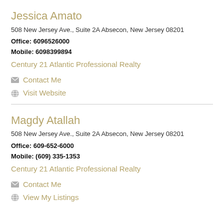Jessica Amato
508 New Jersey Ave., Suite 2A Absecon, New Jersey 08201
Office: 6096526000
Mobile: 6098399894
Century 21 Atlantic Professional Realty
Contact Me
Visit Website
Magdy Atallah
508 New Jersey Ave., Suite 2A Absecon, New Jersey 08201
Office: 609-652-6000
Mobile: (609) 335-1353
Century 21 Atlantic Professional Realty
Contact Me
View My Listings